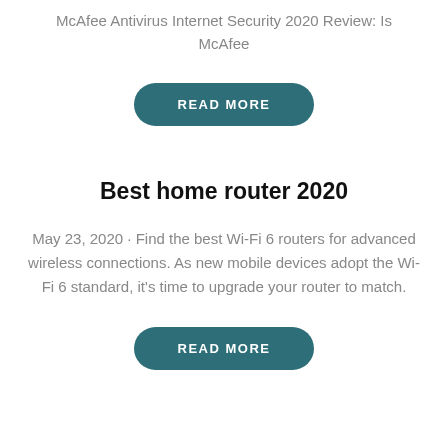McAfee Antivirus Internet Security 2020 Review: Is McAfee
READ MORE
Best home router 2020
May 23, 2020 · Find the best Wi-Fi 6 routers for advanced wireless connections. As new mobile devices adopt the Wi-Fi 6 standard, it's time to upgrade your router to match.
READ MORE